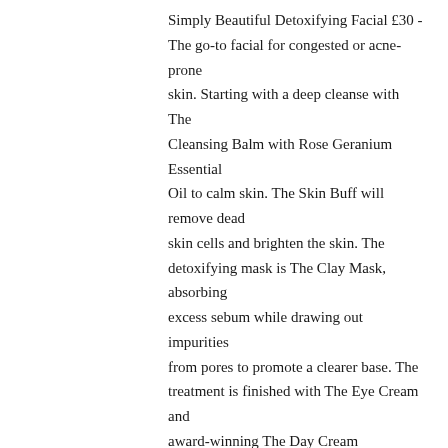Simply Beautiful Detoxifying Facial £30 - The go-to facial for congested or acne-prone skin. Starting with a deep cleanse with The Cleansing Balm with Rose Geranium Essential Oil to calm skin. The Skin Buff will remove dead skin cells and brighten the skin. The detoxifying mask is The Clay Mask, absorbing excess sebum while drawing out impurities from pores to promote a clearer base. The treatment is finished with The Eye Cream and award-winning The Day Cream
Simply Beautiful Brightening Facial £30 - For the client looking for a boost of brightness, incorporating products with powerful active ingredients. Cleanse with either The Cleansing Lotion or The Cleansing Balm. Then, buff The